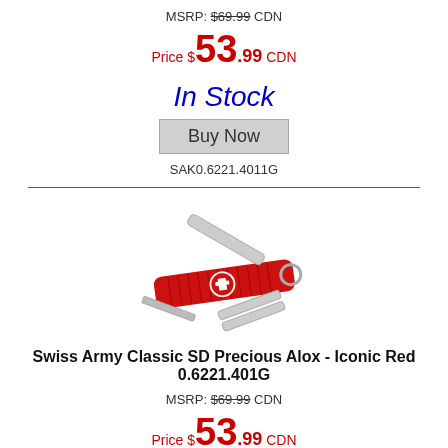MSRP: $69.99 CDN
Price $53.99 CDN
In Stock
Buy Now
SAK0.6221.4011G
[Figure (photo): Red Victorinox Swiss Army Classic SD Precious Alox knife with tools open]
Swiss Army Classic SD Precious Alox - Iconic Red 0.6221.401G
MSRP: $69.99 CDN
Price $53.99 CDN